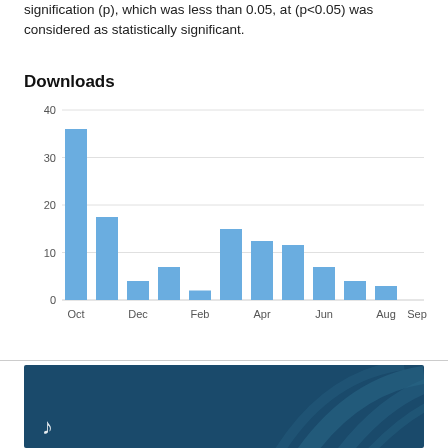signification (p), which was less than 0.05, at (p<0.05) was considered as statistically significant.
Downloads
[Figure (bar-chart): Downloads]
[Figure (illustration): Dark teal/blue publisher banner with decorative arc lines and a logo icon at bottom left]